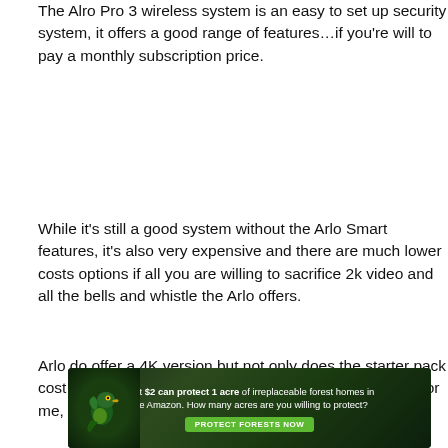The Alro Pro 3 wireless system is an easy to set up security system, it offers a good range of features...if you're will to pay a monthly subscription price.
While it's still a good system without the Arlo Smart features, it's also very expensive and there are much lower costs options if all you are willing to sacrifice 2k video and all the bells and whistle the Arlo offers.
Arlo do offer a 4K version but not only does the starter pack cost more, so too does the monthly subscription plans. For me, 2K is the perfect resolution, it provides better clarity
[Figure (infographic): Advertisement banner with forest/Amazon theme. Text reads: 'Just $2 can protect 1 acre of irreplaceable forest homes in the Amazon. How many acres are you willing to protect?' with a green 'PROTECT FORESTS NOW' button and a bird/parrot image on the left against a dark forest background.]